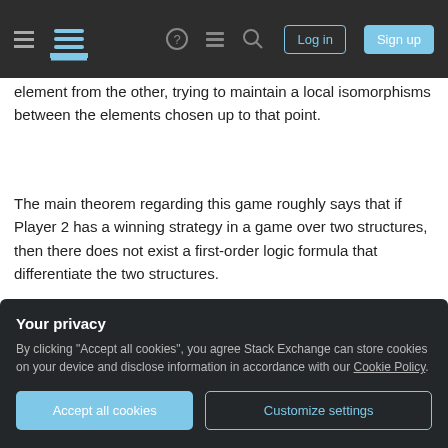Stack Exchange navigation bar with hamburger menu, logo, help, chat, search, Log in, Sign up
element from the other, trying to maintain a local isomorphisms between the elements chosen up to that point.
The main theorem regarding this game roughly says that if Player 2 has a winning strategy in a game over two structures, then there does not exist a first-order logic formula that differentiate the two structures.
This result is used in a large number of expressibility results for first order logic and for other
Your privacy
By clicking "Accept all cookies", you agree Stack Exchange can store cookies on your device and disclose information in accordance with our Cookie Policy.
Accept all cookies   Customize settings